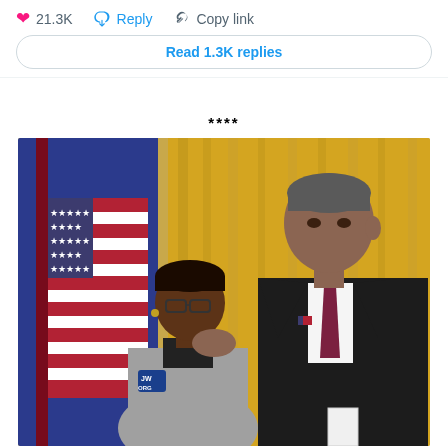[Figure (screenshot): Social media action bar showing a pink heart icon with '21.3K' likes, a blue speech bubble 'Reply' icon, and a chain link 'Copy link' icon, followed by a 'Read 1.3K replies' button in a rounded rectangle border]
****
[Figure (photo): Photograph of two people at what appears to be a White House event. An older Black woman wearing glasses and a JW.ORG badge, in a grey blazer, is facing a tall man in a dark suit with a maroon tie who is leaning slightly toward her with his hand on her shoulder. An American flag and golden curtains are visible in the background.]